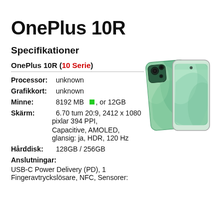OnePlus 10R
Specifikationer
OnePlus 10R (10 Serie)
[Figure (photo): Photo of OnePlus 10R smartphone showing back and front in green color]
Processor: unknown
Grafikkort: unknown
Minne: 8192 MB [green square], or 12GB
Skärm: 6.70 tum 20:9, 2412 x 1080 pixlar 394 PPI, Capacitive, AMOLED, glansig: ja, HDR, 120 Hz
Hårddisk: 128GB / 256GB
Anslutningar:
USB-C Power Delivery (PD), 1
Fingeravtryckslösare, NFC, Sensorer: